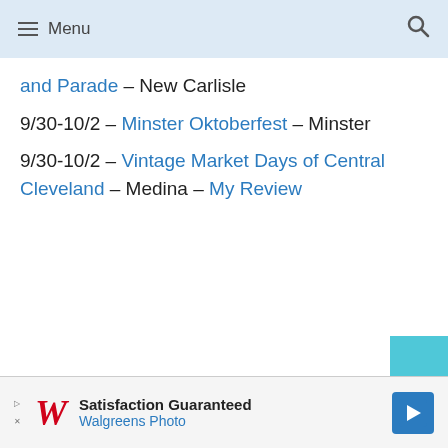Menu
and Parade – New Carlisle
9/30-10/2 – Minster Oktoberfest – Minster
9/30-10/2 – Vintage Market Days of Central Cleveland – Medina – My Review
Satisfaction Guaranteed Walgreens Photo